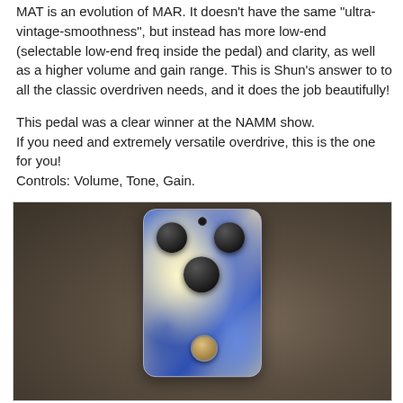MAT is an evolution of MAR. It doesn't have the same "ultra-vintage-smoothness", but instead has more low-end (selectable low-end freq inside the pedal) and clarity, as well as a higher volume and gain range. This is Shun's answer to to all the classic overdriven needs, and it does the job beautifully!

This pedal was a clear winner at the NAMM show.
If you need and extremely versatile overdrive, this is the one for you!
Controls: Volume, Tone, Gain.
[Figure (photo): Photo of a guitar overdrive pedal with a swirling blue, white, and yellow marble-style finish, three black dome knobs on top, and a gold footswitch at the bottom, photographed on a brown fabric surface.]